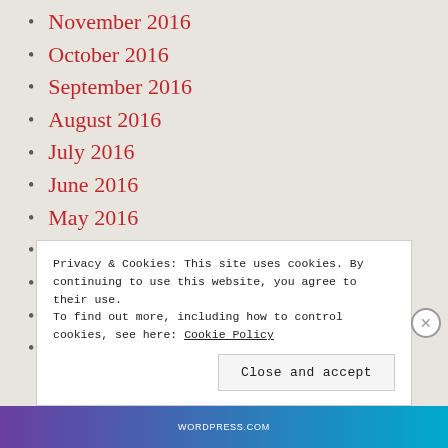November 2016
October 2016
September 2016
August 2016
July 2016
June 2016
May 2016
April 2016
March 2016
October 2015
September 2015
Privacy & Cookies: This site uses cookies. By continuing to use this website, you agree to their use. To find out more, including how to control cookies, see here: Cookie Policy
Close and accept